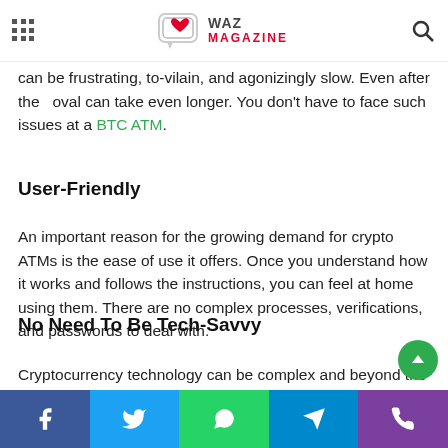WAZ MAGAZINE (navigation header with grid icon, logo, and search icon)
can be frustrating, to-vilain, and agonizingly slow. Even after the oval can take even longer. You don't have to face such issues at a BTC ATM.
User-Friendly
An important reason for the growing demand for crypto ATMs is the ease of use it offers. Once you understand how it works and follows the instructions, you can feel at home using them. There are no complex processes, verifications, and passwords to deal with.
No Need To Be Tech-Savvy
Cryptocurrency technology can be complex and beyond the comprehension of those who are not tech-savvy. However,
Facebook | Twitter | WhatsApp | Telegram | Viber share buttons